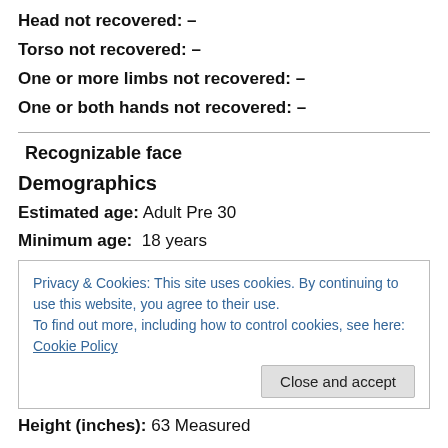Head not recovered: –
Torso not recovered: –
One or more limbs not recovered: –
One or both hands not recovered: –
Recognizable face
Demographics
Estimated age: Adult Pre 30
Minimum age: 18 years
Privacy & Cookies: This site uses cookies. By continuing to use this website, you agree to their use. To find out more, including how to control cookies, see here: Cookie Policy
Close and accept
Height (inches): 63  Measured